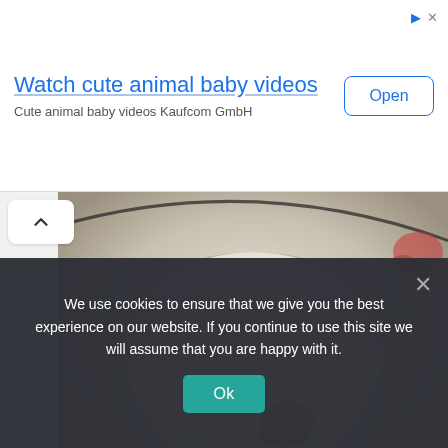[Figure (screenshot): Advertisement banner: 'Watch cute animal baby videos' with Open button, from Cute animal baby videos Kaufcom GmbH]
[Figure (photo): Close-up photo of a white fluffy cat viewed from below through a glass table, showing the cat's belly and paws]
Cats On Glass Tables
[Figure (photo): Partial photo of another cat scene with purple and pink/brown tones]
We use cookies to ensure that we give you the best experience on our website. If you continue to use this site we will assume that you are happy with it.